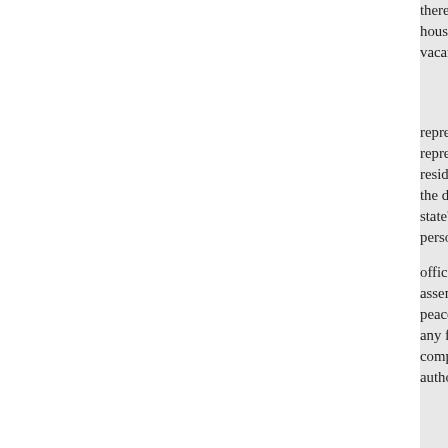thereafter, in each county, at such house, the governor, or person ex vacancies.
§ 3. No person shall be a senator representative who shall not have representative who shall not be a resident of this State, and for two the district from which he is elec state's attorney, recorder, sheriff, person holding any lucrative office under the United States or assembly: Provided, That appoint peace, shall not be considered lu any foreign government, or unde compensation does not exceed th authority of this State.
§ 4. No person who has been, nor any person who has been or n accounted for and paid over, acco general assembly, or to any offic